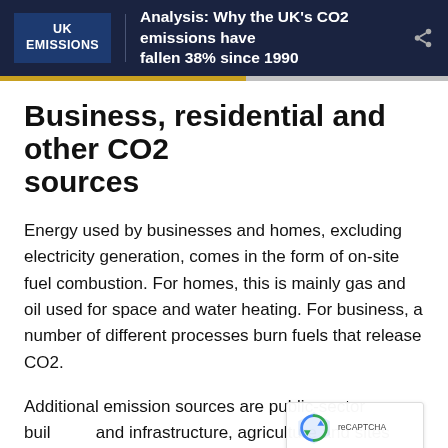UK EMISSIONS — Analysis: Why the UK's CO2 emissions have fallen 38% since 1990
Business, residential and other CO2 sources
Energy used by businesses and homes, excluding electricity generation, comes in the form of on-site fuel combustion. For homes, this is mainly gas and oil used for space and water heating. For business, a number of different processes burn fuels that release CO2.
Additional emission sources are public-sector buildings and infrastructure, agriculture and sites such as oil refineries. Land-use emissions have been negative in the UK since 1990, meaning more carbon is absorbed by soils and plants than is released. The extent of this carbon sink has decreased over time.